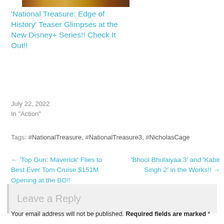[Figure (photo): Thumbnail image strip at top]
'National Treasure: Edge of History' Teaser Glimpses at the New Disney+ Series!! Check It Out!!
July 22, 2022
In "Action"
Tags: #NationalTreasure, #NationalTreasure3, #NicholasCage
← 'Top Gun: Maverick' Flies to Best Ever Tom Cruise $151M Opening at the BO!!
'Bhool Bhulaiyaa 3' and 'Kabir Singh 2' in the Works!! →
Leave a Reply
Your email address will not be published. Required fields are marked *